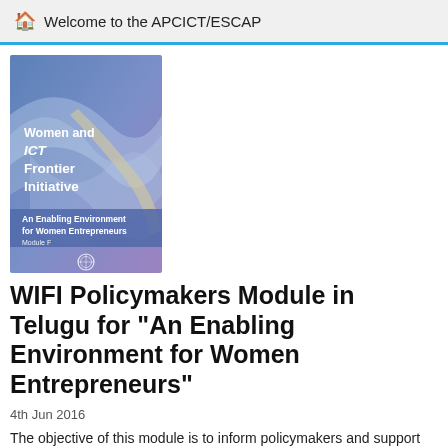Welcome to the APCICT/ESCAP
[Figure (illustration): Book cover for 'Women and ICT Frontier Initiative - An Enabling Environment for Women Entrepreneurs, Module F'. Blue and purple gradient cover with decorative wave/ribbon design and UN logo.]
WIFI Policymakers Module in Telugu for "An Enabling Environment for Women Entrepreneurs"
4th Jun 2016
The objective of this module is to inform policymakers and support their policymaking skills with gender-related knowledge to create an enabling environment for ICT-empowered women entrepreneurs. The module has four main sections, as well as an introduction and conclusion. The first section introduces the